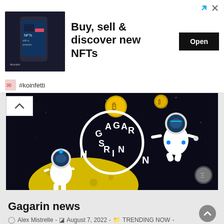[Figure (advertisement): Ad banner for NFT marketplace: dark image of phone showing NFT app on left, bold text 'Buy, sell & discover new NFTs' in center, black 'Open' button on right, with arrow and X icons top right, and '#koinfetti' brand label below]
[Figure (illustration): Gagarin crypto news banner: dark space background with two cartoon astronauts, one skateboarding on a yellow moon, one floating right, large circle logo reading 'GAGARIN' in center, Bitcoin and Ethereum coins floating in background]
Gagarin news
Alex Mistrelle  -  August 7, 2022  -  TRENDING NOW  -
0 Comments